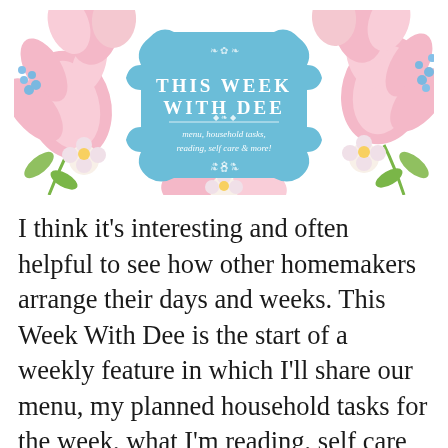[Figure (illustration): Decorative banner image with watercolor pink and white flowers (tulips, lilies, forget-me-nots) on the left and right sides, and a light blue ornate badge in the center reading 'THIS WEEK WITH DEE – menu, household tasks, reading, self care & more!']
I think it's interesting and often helpful to see how other homemakers arrange their days and weeks. This Week With Dee is the start of a weekly feature in which I'll share our menu, my planned household tasks for the week, what I'm reading, self care plans